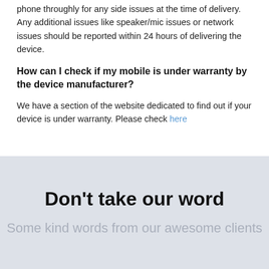phone throughly for any side issues at the time of delivery. Any additional issues like speaker/mic issues or network issues should be reported within 24 hours of delivering the device.
How can I check if my mobile is under warranty by the device manufacturer?
We have a section of the website dedicated to find out if your device is under warranty. Please check here
Don't take our word
Some kind words from our awesome clients